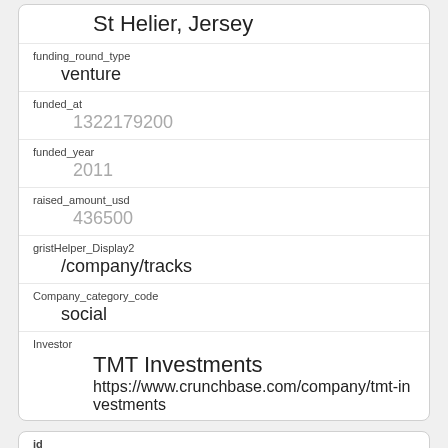| field | value |
| --- | --- |
| (location) | St Helier, Jersey |
| funding_round_type | venture |
| funded_at | 1322179200 |
| funded_year | 2011 |
| raised_amount_usd | 436500 |
| gristHelper_Display2 | /company/tracks |
| Company_category_code | social |
| Investor | TMT Investments
https://www.crunchbase.com/company/tmt-investments |
| field | value |
| --- | --- |
| id | 404 |